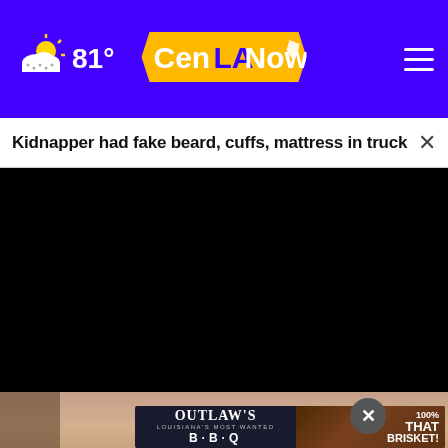81° CenLANow
Kidnapper had fake beard, cuffs, mattress in truck
[Figure (screenshot): Black video player area]
[Figure (photo): Person's forehead/face partially visible at bottom]
[Figure (infographic): Outlaw's BBQ advertisement: OUTLAW'S LOUISIANA'S MOST WANTED B·B·Q on left, brisket image with 100% THAT BRISKET! on right]